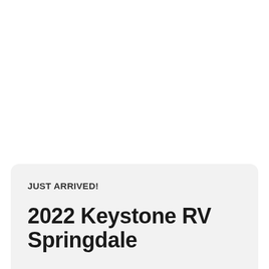JUST ARRIVED!
2022 Keystone RV Springdale